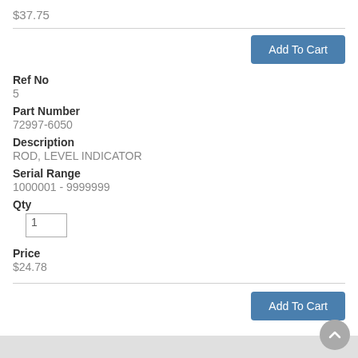$37.75
Add To Cart
Ref No
5
Part Number
72997-6050
Description
ROD, LEVEL INDICATOR
Serial Range
1000001 - 9999999
Qty
Price
$24.78
Add To Cart